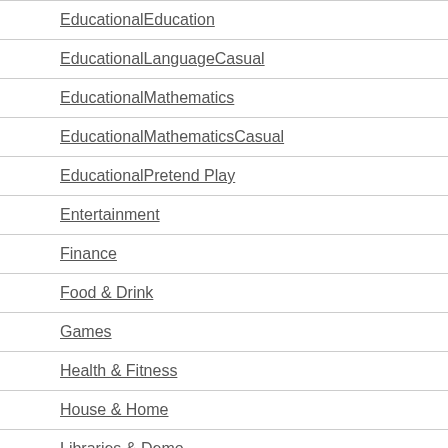EducationalEducation
EducationalLanguageCasual
EducationalMathematics
EducationalMathematicsCasual
EducationalPretend Play
Entertainment
Finance
Food & Drink
Games
Health & Fitness
House & Home
Libraries & Demo